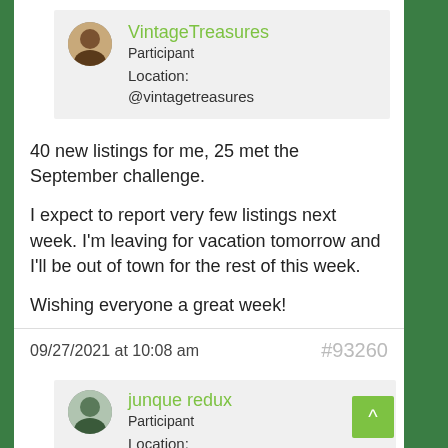VintageTreasures
Participant
Location:
@vintagetreasures
40 new listings for me, 25 met the September challenge.

I expect to report very few listings next week. I'm leaving for vacation tomorrow and I'll be out of town for the rest of this week.

Wishing everyone a great week!
09/27/2021 at 10:08 am
#93260
junque redux
Participant
Location:
@junque-redux